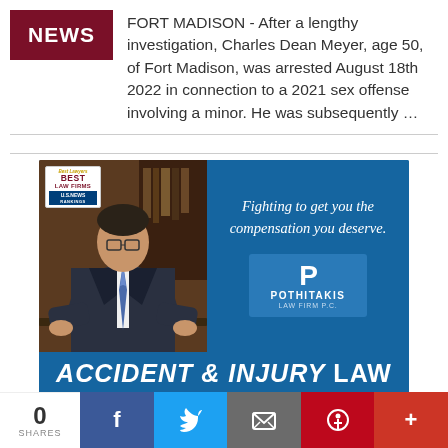[Figure (logo): Dark red NEWS badge/logo]
FORT MADISON - After a lengthy investigation, Charles Dean Meyer, age 50, of Fort Madison, was arrested August 18th 2022 in connection to a 2021 sex offense involving a minor. He was subsequently …
[Figure (infographic): Pothitakis Law Firm advertisement banner featuring a lawyer photo, Best Law Firms badge, slogan 'Fighting to get you the compensation you deserve.', firm logo, and text: ACCIDENT & INJURY LAW, 320 North 3rd Street, Suite 100, Burlington, Iowa 52601-0337, 1603 Main Street, Keokuk, IA 52632]
0 SHARES  [Facebook] [Twitter] [Email] [Pinterest] [More]